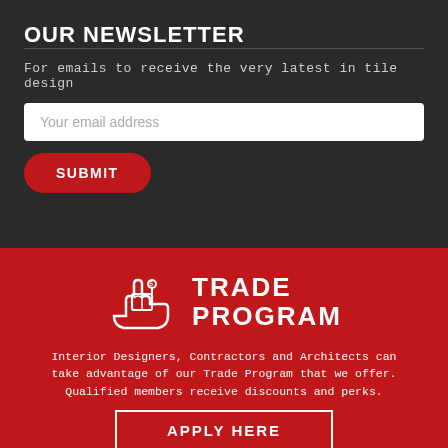OUR NEWSLETTER
For emails to receive the very latest in tile design
Your email address
SUBMIT
[Figure (illustration): White line icon of a hand holding a box with a price tag and dollar sign, representing a trade program]
TRADE PROGRAM
Interior Designers, Contractors and Architects can take advantage of our Trade Program that we offer. Qualified members receive discounts and perks.
APPLY HERE